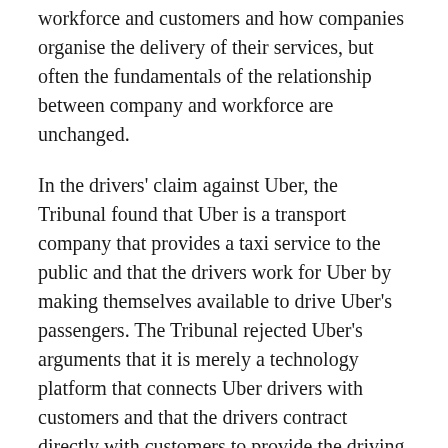workforce and customers and how companies organise the delivery of their services, but often the fundamentals of the relationship between company and workforce are unchanged.
In the drivers' claim against Uber, the Tribunal found that Uber is a transport company that provides a taxi service to the public and that the drivers work for Uber by making themselves available to drive Uber's passengers. The Tribunal rejected Uber's arguments that it is merely a technology platform that connects Uber drivers with customers and that the drivers contract directly with customers to provide the driving service.
Further, the law applies to companies in the 'gig economy' just as it does to any other company; there are no special exemptions for companies that use new technology.
To be entitled to workers' rights, the Uber drivers had to show the following to meet the legal definition of